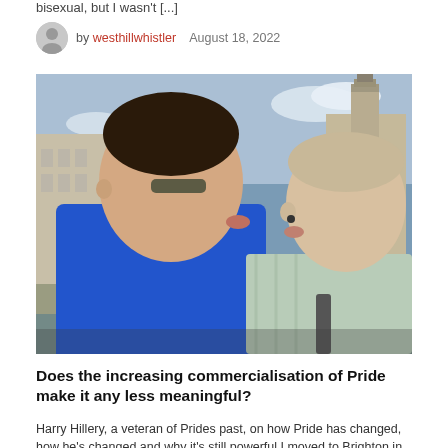bisexual, but I wasn't [...]
by westhillwhistler   August 18, 2022
[Figure (photo): Two men kissing outdoors in front of a large building (appears to be in London/Westminster area), one wearing a blue shirt, the other a plaid shirt. Crowd and orange balloon visible in background.]
Does the increasing commercialisation of Pride make it any less meaningful?
Harry Hillery, a veteran of Prides past, on how Pride has changed, how he's changed and why it's still powerful I moved to Brighton in